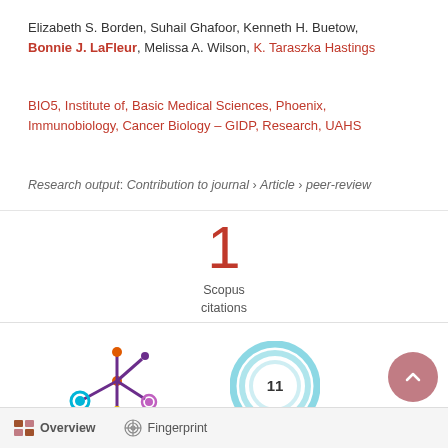Elizabeth S. Borden, Suhail Ghafoor, Kenneth H. Buetow, Bonnie J. LaFleur, Melissa A. Wilson, K. Taraszka Hastings
BIO5, Institute of, Basic Medical Sciences, Phoenix, Immunobiology, Cancer Biology – GIDP, Research, UAHS
Research output: Contribution to journal › Article › peer-review
[Figure (infographic): Scopus citations count: 1, displayed as large red numeral with 'Scopus citations' label below]
[Figure (infographic): PlumX metrics icon - colorful asterisk/molecule logo]
[Figure (infographic): Altmetric donut badge showing score 11 in teal/blue circular rings]
Overview   Fingerprint